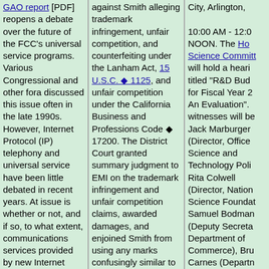GAO report [PDF] reopens a debate over the future of the FCC's universal service programs. Various Congressional and other fora discussed this issue often in the late 1990s. However, Internet Protocol (IP) telephony and universal service have been little debated in recent years. At issue is whether or not, and if so, to what extent, communications services provided by new Internet based technologies, such as IP telephony, will be subjected to the cross subsidization and regulation model now
against Smith alleging trademark infringement, unfair competition, and counterfeiting under the Lanham Act, 15 U.S.C. § 1125, and unfair competition under the California Business and Professions Code § 17200. The District Court granted summary judgment to EMI on the trademark infringement and unfair competition claims, awarded damages, and enjoined Smith from using any marks confusingly similar to "Entrepreneur".
Appeals Court. The Appeals Court affirmed in part and reversed in part. It applied the eight factor test announced in
City, Arlington, 10:00 AM - 12:00 NOON. The House Science Committee will hold a hearing titled "R&D Budget for Fiscal Year 2... An Evaluation". witnesses will be Jack Marburger (Director, Office of Science and Technology Policy), Rita Colwell (Director, National Science Foundation), Samuel Bodman (Deputy Secretary, Department of Commerce), Bruce Carnes (Department of Energy). Location: Room 2318, Rayburn Building.